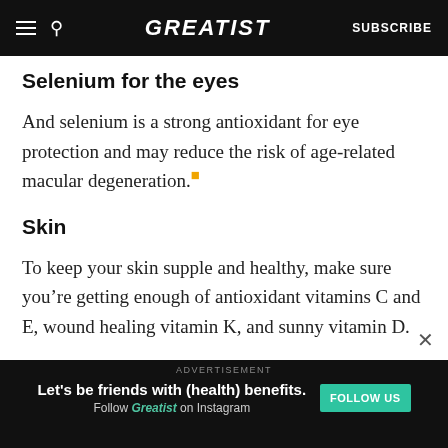GREATIST | SUBSCRIBE
Selenium for the eyes
And selenium is a strong antioxidant for eye protection and may reduce the risk of age-related macular degeneration.
Skin
To keep your skin supple and healthy, make sure you’re getting enough of antioxidant vitamins C and E, wound healing vitamin K, and sunny vitamin D.
[Figure (other): Advertisement banner: Let's be friends with (health) benefits. Follow GREATIST on Instagram. FOLLOW US button.]